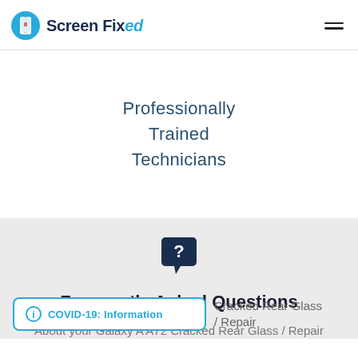[Figure (logo): Screen Fixed logo: blue circle with phone icon, bold text 'Screen Fixed' with 'ed' in italic blue]
Professionally Trained Technicians
[Figure (illustration): Dark navy speech bubble icon with white question mark]
Frequently Asked Questions
About your Galaxy A A72 Cracked Rear Glass / Repair
COVID-19: Information